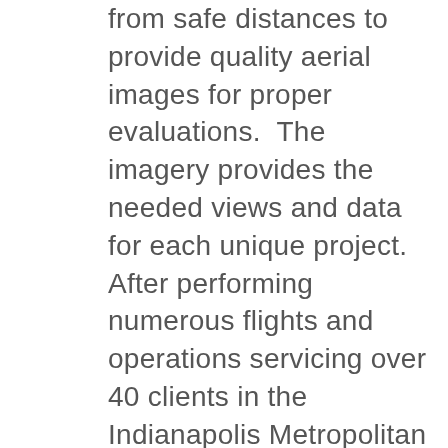from safe distances to provide quality aerial images for proper evaluations. The imagery provides the needed views and data for each unique project. After performing numerous flights and operations servicing over 40 clients in the Indianapolis Metropolitan area, DronEye Imaging continues to invest in new technology and products. Their continuous investing efforts allow them to provide the safest and absolute best client drone service possible. Safety is of the utmost importance to the Indiana based DronEye Imaging team. Adding this unique feature to their fleet allows them to provide the safest and most reliable data collection drone bridge inspection service. DronEye Imaging can provide the most cost effective way to analyze your drone inspection project including, but not limited to, cell tower inspection, power line inspection, bridge inspection, smoke stack inspection, roof inspections, monument